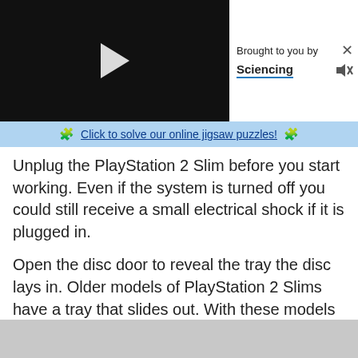[Figure (screenshot): Video player with black background and white play button triangle in the center]
Brought to you by Sciencing
🧩 Click to solve our online jigsaw puzzles! 🧩
Unplug the PlayStation 2 Slim before you start working. Even if the system is turned off you could still receive a small electrical shock if it is plugged in.
Open the disc door to reveal the tray the disc lays in. Older models of PlayStation 2 Slims have a tray that slides out. With these models you must remove the cover to see the sensors.